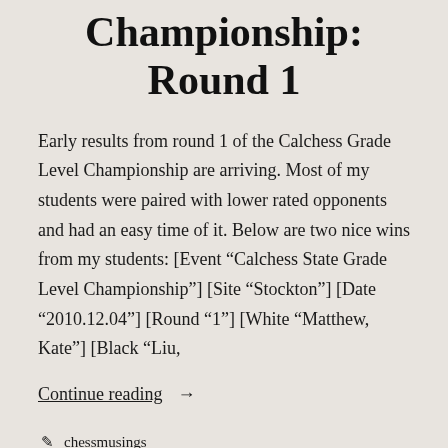Championship: Round 1
Early results from round 1 of the Calchess Grade Level Championship are arriving. Most of my students were paired with lower rated opponents and had an easy time of it. Below are two nice wins from my students: [Event “Calchess State Grade Level Championship”] [Site “Stockton”] [Date “2010.12.04”] [Round “1”] [White “Matthew, Kate”] [Black “Liu,
Continue reading →
chessmusings
December 4, 2010